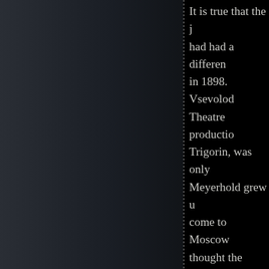[Figure (photo): Dark background showing left panel with gradient dark grey/blue texture and a dotted vertical spine line dividing the page]
It is true that the ... had had a differen... in 1898. Vsevolod... Theatre productio... Trigorin, was only... Meyerhold grew u... come to Moscow ... thought the world...
Stanislavsky's you... Moliere play or o... children they had ... Japan and ensuing... Great War, the Re... disease and famin... level of PTSD.  T... stable Stanislavsk...
As for Meyerhold...